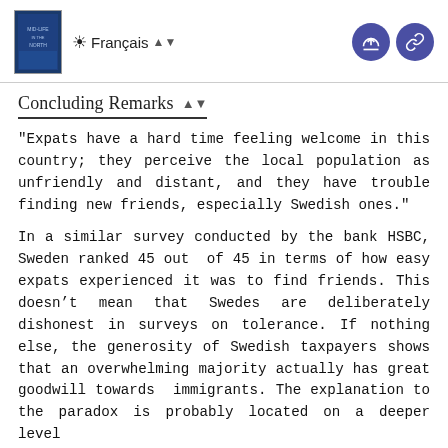Français
Concluding Remarks
"Expats have a hard time feeling welcome in this country; they perceive the local population as unfriendly and distant, and they have trouble finding new friends, especially Swedish ones."
In a similar survey conducted by the bank HSBC, Sweden ranked 45 out of 45 in terms of how easy expats experienced it was to find friends. This doesn't mean that Swedes are deliberately dishonest in surveys on tolerance. If nothing else, the generosity of Swedish taxpayers shows that an overwhelming majority actually has great goodwill towards immigrants. The explanation to the paradox is probably located on a deeper level